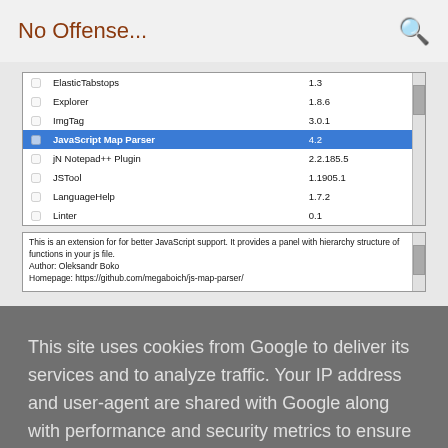No Offense...
[Figure (screenshot): Screenshot of a plugin manager list showing plugins: ElasticTabstops 1.3, Explorer 1.8.6, ImgTag 3.0.1, JavaScript Map Parser 4.2 (selected/highlighted), jN Notepad++ Plugin 2.2.185.5, JSTool 1.1905.1, LanguageHelp 1.7.2, Linter 0.1, with a scrollbar on the right]
This is an extension for for better JavaScript support. It provides a panel with hierarchy structure of functions in your js file.
Author: Oleksandr Boko
Homepage: https://github.com/megaboich/js-map-parser/
This site uses cookies from Google to deliver its services and to analyze traffic. Your IP address and user-agent are shared with Google along with performance and security metrics to ensure quality of service, generate usage statistics, and to detect and address abuse.
LEARN MORE    OK